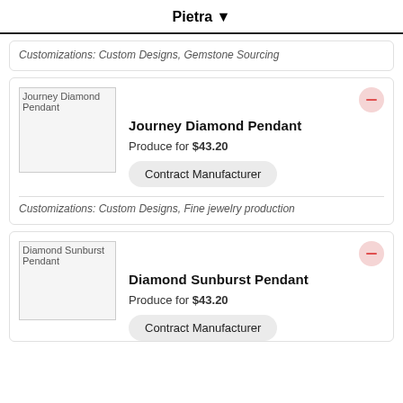Pietra
Customizations: Custom Designs, Gemstone Sourcing
[Figure (photo): Product image for Journey Diamond Pendant]
Journey Diamond Pendant
Produce for $43.20
Contract Manufacturer
Customizations: Custom Designs, Fine jewelry production
[Figure (photo): Product image for Diamond Sunburst Pendant]
Diamond Sunburst Pendant
Produce for $43.20
Contract Manufacturer